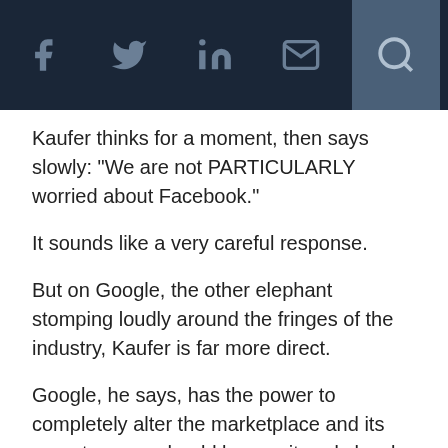f  [twitter]  in  [mail]  [search]
Kaufer thinks for a moment, then says slowly: "We are not PARTICULARLY worried about Facebook."
It sounds like a very careful response.
But on Google, the other elephant stomping loudly around the fringes of the industry, Kaufer is far more direct.
Google, he says, has the power to completely alter the marketplace and its recent moves should be monitored closely.
This website uses cookies to enhance user experience and to analyze performance and traffic on our website. By using this site, you agree to the use of cookies. You may change your cookie settings at any time, but the site may not function properly. Cookie Policy